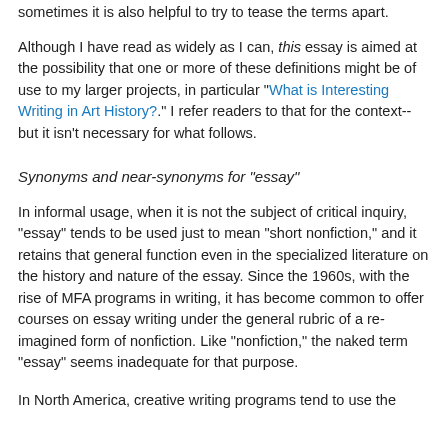sometimes it is also helpful to try to tease the terms apart.
Although I have read as widely as I can, this essay is aimed at the possibility that one or more of these definitions might be of use to my larger projects, in particular "What is Interesting Writing in Art History?." I refer readers to that for the context--but it isn't necessary for what follows.
Synonyms and near-synonyms for "essay"
In informal usage, when it is not the subject of critical inquiry, "essay" tends to be used just to mean "short nonfiction," and it retains that general function even in the specialized literature on the history and nature of the essay. Since the 1960s, with the rise of MFA programs in writing, it has become common to offer courses on essay writing under the general rubric of a re-imagined form of nonfiction. Like "nonfiction," the naked term "essay" seems inadequate for that purpose.
In North America, creative writing programs tend to use the